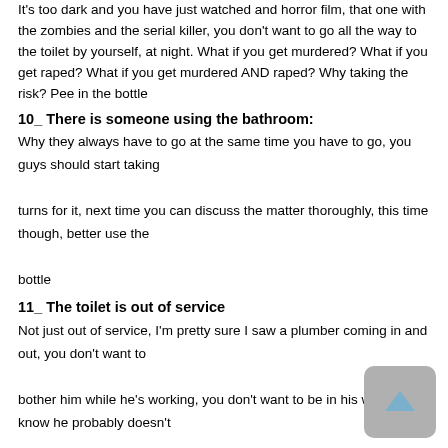It's too dark and you have just watched and horror film, that one with the zombies and the serial killer, you don't want to go all the way to the toilet by yourself, at night. What if you get murdered? What if you get raped? What if you get murdered AND raped? Why taking the risk? Pee in the bottle
10_ There is someone using the bathroom:
Why they always have to go at the same time you have to go, you guys should start taking turns for it, next time you can discuss the matter thoroughly, this time though, better use the bottle
11_ The toilet is out of service
Not just out of service, I'm pretty sure I saw a plumber coming in and out, you don't want to bother him while he's working, you don't want to be in his way. I know he probably doesn't even mind, but it's just polite to wait until he's done, and actually, you are pretty lucky because there' happens to be an empty plastic container right here, you can use until the honorable man finishes his work.
12_ The bathroom is haunted:
You know you've been hearing some weird noises lately, what are they? Ghosts? Aliens? Monster? It could be anything really. We don't